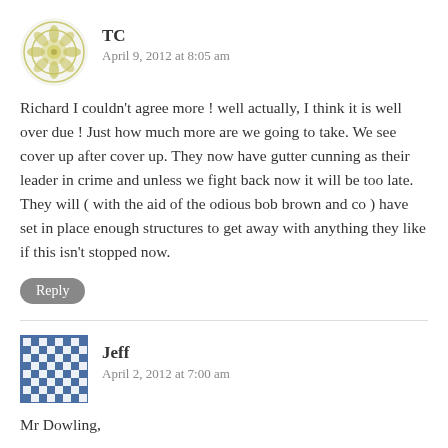[Figure (illustration): Avatar icon for user TC - decorative floral/mandala pattern in yellow/olive tones]
TC
April 9, 2012 at 8:05 am
Richard I couldn't agree more ! well actually, I think it is well over due ! Just how much more are we going to take. We see cover up after cover up. They now have gutter cunning as their leader in crime and unless we fight back now it will be too late. They will ( with the aid of the odious bob brown and co ) have set in place enough structures to get away with anything they like if this isn't stopped now.
Reply
[Figure (illustration): Avatar icon for user Jeff - blue and white checkered/mosaic pattern]
Jeff
April 2, 2012 at 7:00 am
Mr Dowling,
I am sure that you feel aggrieved by what is above, but I think you will find that you are not entitled to this material.
At law there are already a number of means of dealing with